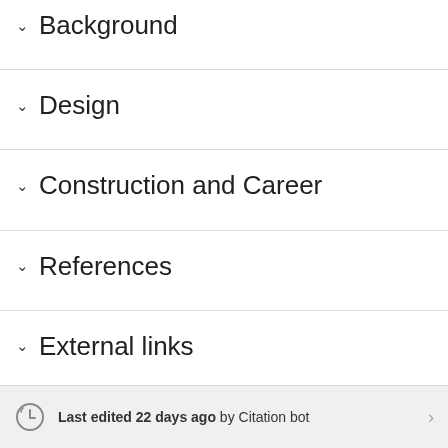Background
Design
Construction and Career
References
External links
Last edited 22 days ago by Citation bot